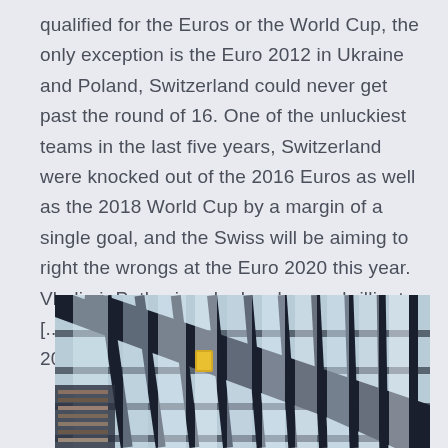qualified for the Euros or the World Cup, the only exception is the Euro 2012 in Ukraine and Poland, Switzerland could never get past the round of 16. One of the unluckiest teams in the last five years, Switzerland were knocked out of the 2016 Euros as well as the 2018 World Cup by a margin of a single goal, and the Swiss will be aiming to right the wrongs at the Euro 2020 this year. Vladimir Petkovic, who has been a brilliant [...] Group J. Italy secure a place at EURO 2020.
[Figure (photo): Close-up photo of a modern building facade with diagonal steel/metal structural beams and glass panels, viewed from a low angle. The image shows architectural steel framework with light coming through the glass sections.]